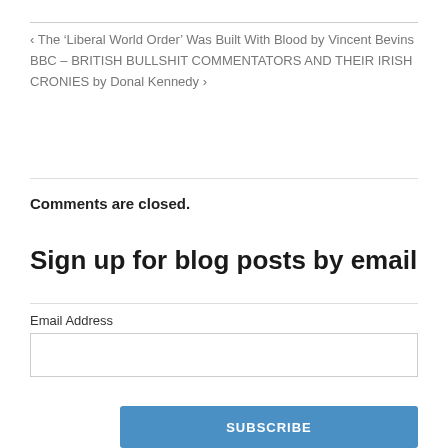< The ‘Liberal World Order’ Was Built With Blood by Vincent Bevins
BBC – BRITISH BULLSHIT COMMENTATORS AND THEIR IRISH CRONIES by Donal Kennedy >
Comments are closed.
Sign up for blog posts by email
Email Address
SUBSCRIBE